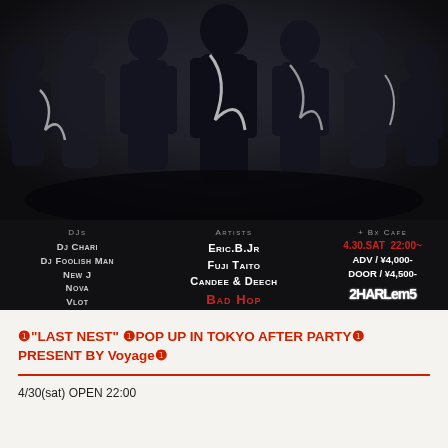[Figure (photo): Group of people in dark clothing standing in a dark background, promotional flyer image for a music event]
DJs
Dj Chari
Dj Foolish Man
New J
Nova
Vlot
Artists
Eric.B.Jr
Fuji Taito
Candee & Deech
BAD HOP
+ Bx Cafe
4.30.SAT 22:00~
ADV / ¥4,000-
DOOR / ¥4,500-
2HARLEMS
❶"LAST NEST" ❶POP UP IN TOKYO AFTER PARTY❶ PRESENT BY Voyage❶
4/30(sat) OPEN 22:00